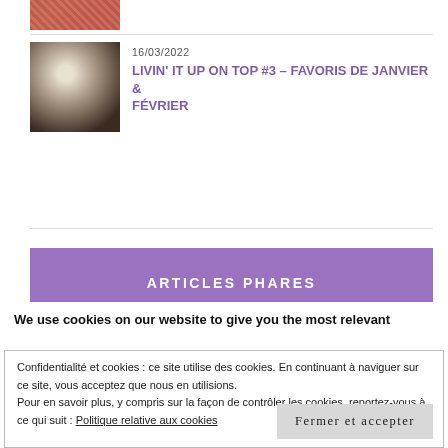[Figure (photo): Partial top image of food/textile, cropped at top of page]
16/03/2022
LIVIN' IT UP ON TOP #3 – FAVORIS DE JANVIER & FÉVRIER
[Figure (photo): Thumbnail of a dark coffee cup or bowl]
ARTICLES PHARES
[Figure (photo): Thumbnail of a dark/purple series image with golden elements]
8 séries avec des épisodes courts à regarder sans modération
[Figure (photo): Partial thumbnail, cropped, orange/warm tones]
We use cookies on our website to give you the most relevant
Confidentialité et cookies : ce site utilise des cookies. En continuant à naviguer sur ce site, vous acceptez que nous en utilisions.
Pour en savoir plus, y compris sur la façon de contrôler les cookies, reportez-vous à ce qui suit : Politique relative aux cookies
Fermer et accepter